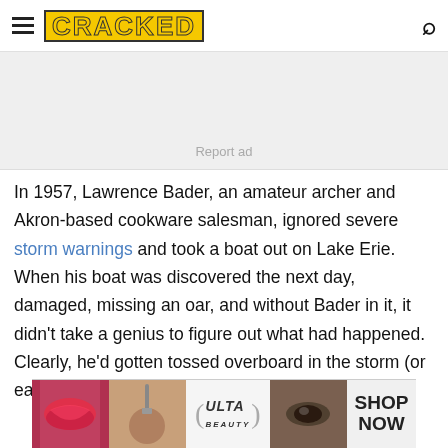CRACKED
[Figure (other): Advertisement placeholder area with 'Report ad' label]
In 1957, Lawrence Bader, an amateur archer and Akron-based cookware salesman, ignored severe storm warnings and took a boat out on Lake Erie. When his boat was discovered the next day, damaged, missing an oar, and without Bader in it, it didn't take a genius to figure out what had happened. Clearly, he'd gotten tossed overboard in the storm (or eaten by
[Figure (other): Bottom banner advertisement for ULTA beauty with cosmetics imagery and 'SHOP NOW' call to action]